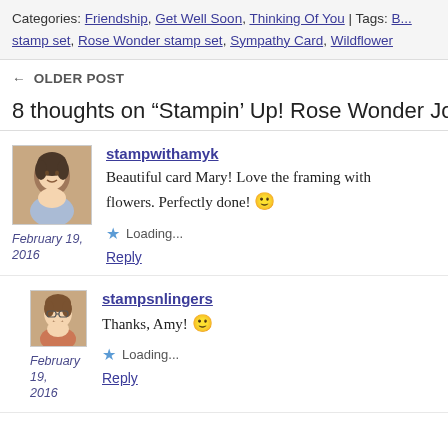Categories: Friendship, Get Well Soon, Thinking Of You | Tags: B... stamp set, Rose Wonder stamp set, Sympathy Card, Wildflower
← OLDER POST
8 thoughts on “Stampin’ Up! Rose Wonder Joins Gratefu…”
stampwithamyk
Beautiful card Mary! Love the framing with flowers. Perfectly done! 🙂
Loading...
Reply
February 19, 2016
stampsnlingers
Thanks, Amy! 🙂
Loading...
Reply
February 19, 2016